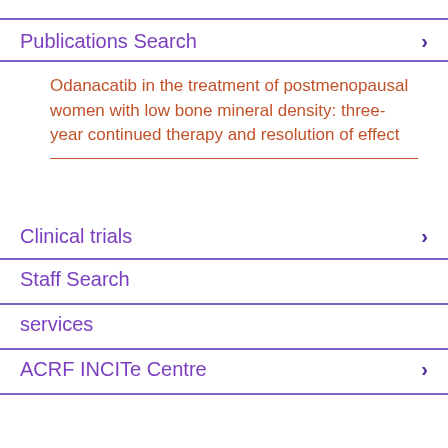Publications Search
Odanacatib in the treatment of postmenopausal women with low bone mineral density: three-year continued therapy and resolution of effect
Clinical trials
Staff Search
services
ACRF INCITe Centre